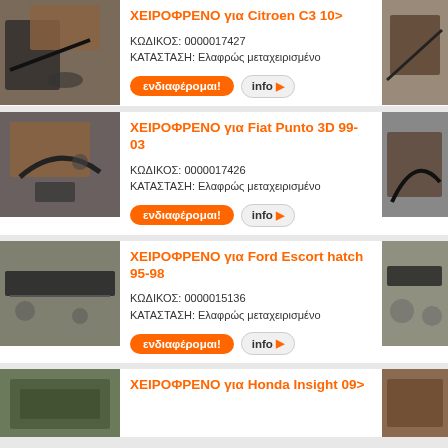[Figure (photo): Left photo of handbrake part for Citroen C3]
ΧΕΙΡΟΦΡΕΝΟ για Citroen C3 10>
ΚΩΔΙΚΟΣ: 0000017427
ΚΑΤΑΣΤΑΣΗ: Ελαφρώς μεταχειρισμένο
[Figure (photo): Right photo of handbrake part for Citroen C3]
[Figure (photo): Left photo of handbrake part for Fiat Punto 3D]
ΧΕΙΡΟΦΡΕΝΟ για Fiat Punto 3D 99-03
ΚΩΔΙΚΟΣ: 0000017426
ΚΑΤΑΣΤΑΣΗ: Ελαφρώς μεταχειρισμένο
[Figure (photo): Right photo of handbrake part for Fiat Punto 3D]
[Figure (photo): Left photo of handbrake part for Ford Escort hatch]
ΧΕΙΡΟΦΡΕΝΟ για Ford Escort hatch 95-98
ΚΩΔΙΚΟΣ: 0000015136
ΚΑΤΑΣΤΑΣΗ: Ελαφρώς μεταχειρισμένο
[Figure (photo): Right photo of handbrake part for Ford Escort hatch]
[Figure (photo): Left photo of handbrake for Honda Insight]
ΧΕΙΡΟΦΡΕΝΟ για Honda Insight 09>
[Figure (photo): Right photo of handbrake for Honda Insight]